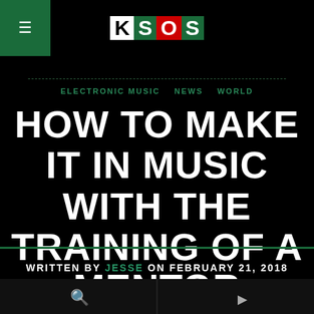KSOS
ELECTRONIC MUSIC  NEWS  WORLD
HOW TO MAKE IT IN MUSIC WITH THE TRAINING OF A MENTOR
WRITTEN BY JESSE ON FEBRUARY 21, 2018